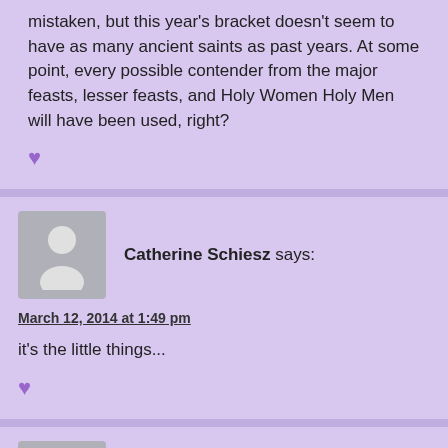mistaken, but this year's bracket doesn't seem to have as many ancient saints as past years. At some point, every possible contender from the major feasts, lesser feasts, and Holy Women Holy Men will have been used, right?
[Figure (illustration): Purple heart emoji/icon]
Catherine Schiesz says:
March 12, 2014 at 1:49 pm
it's the little things...
[Figure (illustration): Purple heart emoji/icon]
Marj Lewis says: